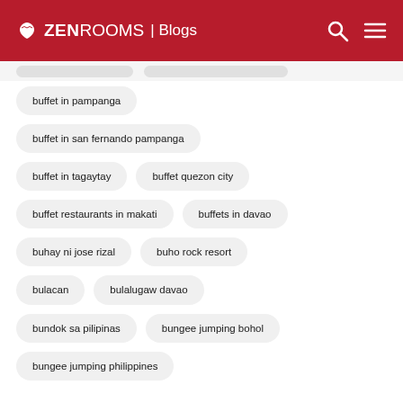ZEN ROOMS | Blogs
buffet in pampanga
buffet in san fernando pampanga
buffet in tagaytay
buffet quezon city
buffet restaurants in makati
buffets in davao
buhay ni jose rizal
buho rock resort
bulacan
bulalugaw davao
bundok sa pilipinas
bungee jumping bohol
bungee jumping philippines